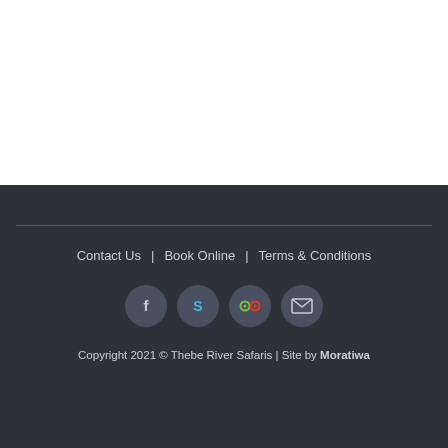Contact Us  |  Book Online  |  Terms & Conditions
[Figure (infographic): Four circular social media/contact icon buttons: Facebook (f), Skype (S), TripAdvisor (circles), Email (envelope), all on dark background]
Copyright 2021 © Thebe River Safaris | Site by Moratiwa